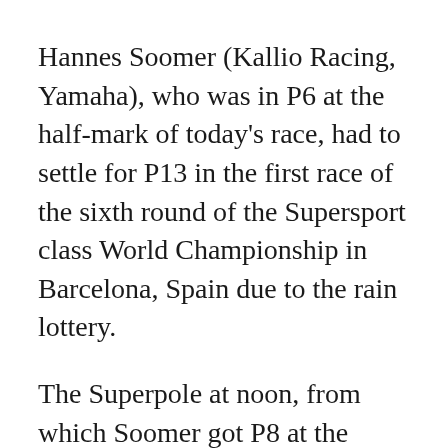Hannes Soomer (Kallio Racing, Yamaha), who was in P6 at the half-mark of today's race, had to settle for P13 in the first race of the sixth round of the Supersport class World Championship in Barcelona, Spain due to the rain lottery.
The Superpole at noon, from which Soomer got P8 at the starting grid, as well as the start of the first race this afternoon, did not go very well.